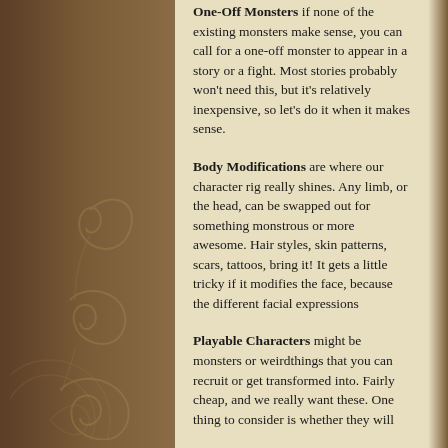One-Off Monsters if none of the existing monsters make sense, you can call for a one-off monster to appear in a story or a fight. Most stories probably won't need this, but it's relatively inexpensive, so let's do it when it makes sense.
Body Modifications are where our character rig really shines. Any limb, or the head, can be swapped out for something monstrous or more awesome. Hair styles, skin patterns, scars, tattoos, bring it! It gets a little tricky if it modifies the face, because the different facial expressions
Playable Characters might be monsters or weirdthings that you can recruit or get transformed into. Fairly cheap, and we really want these. One thing to consider is whether they will